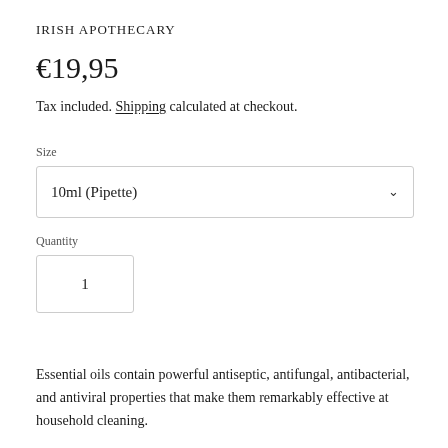IRISH APOTHECARY
€19,95
Tax included. Shipping calculated at checkout.
Size
10ml (Pipette)
Quantity
1
Essential oils contain powerful antiseptic, antifungal, antibacterial, and antiviral properties that make them remarkably effective at household cleaning.